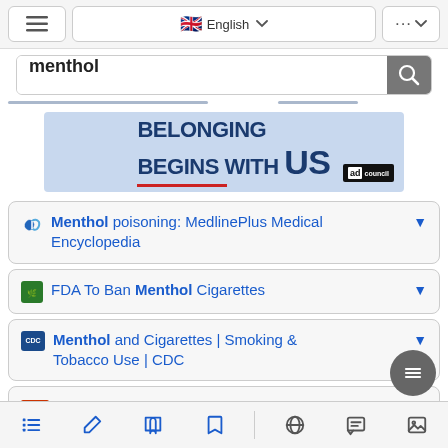≡  🇬🇧 English  ▾  ···  ▾
menthol [search bar]
[Figure (illustration): Ad banner: 'BELONGING BEGINS WITH US' with Ad Council logo on light blue background]
Menthol poisoning: MedlinePlus Medical Encyclopedia
FDA To Ban Menthol Cigarettes
Menthol and Cigarettes | Smoking & Tobacco Use | CDC
Should Menthol Cigarettes Be Banned? : NPR
≡  ✏  📖  🔖  🌐  💬  🖼